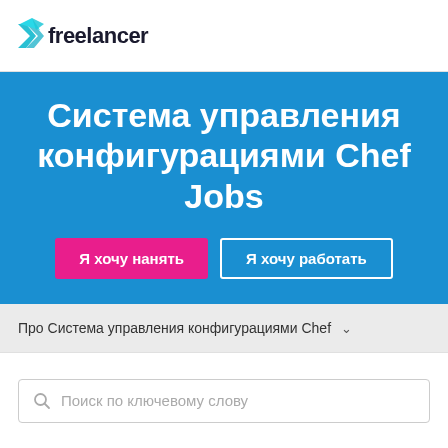[Figure (logo): Freelancer logo with cyan geometric bird/arrow icon and 'freelancer' wordmark in dark text]
Система управления конфигурациями Chef Jobs
Я хочу нанять
Я хочу работать
Про Система управления конфигурациями Chef
Поиск по ключевому слову